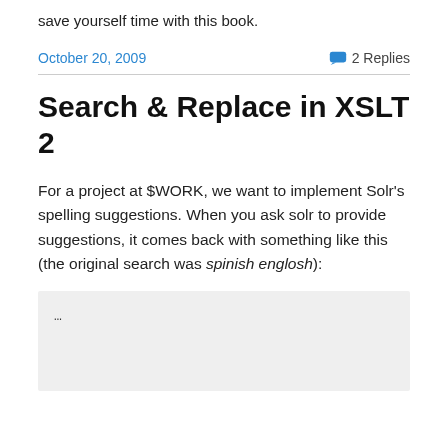save yourself time with this book.
October 20, 2009
2 Replies
Search & Replace in XSLT 2
For a project at $WORK, we want to implement Solr’s spelling suggestions. When you ask solr to provide suggestions, it comes back with something like this (the original search was spinish englosh):
...